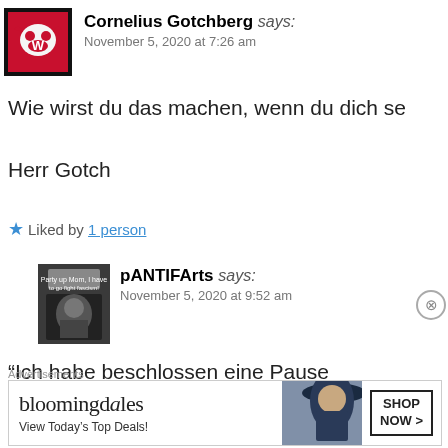Cornelius Gotchberg says:
November 5, 2020 at 7:26 am
Wie wirst du das machen, wenn du dich se
Herr Gotch
★ Liked by 1 person
pANTIFArts says:
November 5, 2020 at 9:52 am
“Ich habe beschlossen eine Pause einzulegen”.? Eigentlich ist er die interessiert das? Das ist egal
Advertisements
[Figure (other): Bloomingdales advertisement banner with logo, tagline 'View Today's Top Deals!' and 'SHOP NOW >' button, with image of woman in hat]